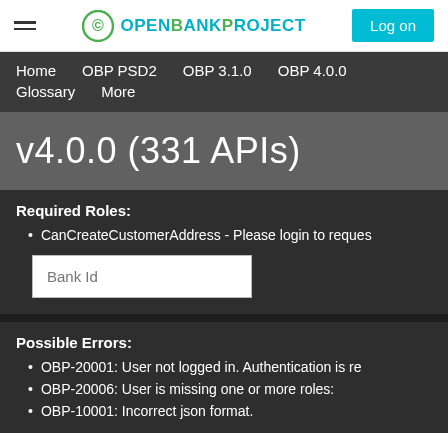Open Bank Project — Log on
Home  OBP PSD2  OBP 3.1.0  OBP 4.0.0  Glossary  More
v4.0.0 (331 APIs)
Required Roles:
CanCreateCustomerAddress - Please login to request
Bank Id
Possible Errors:
OBP-20001: User not logged in. Authentication is required.
OBP-20006: User is missing one or more roles:
OBP-10001: Incorrect json format.